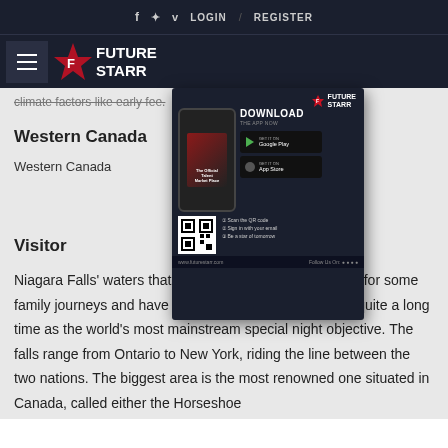f  t  v  LOGIN / REGISTER
[Figure (logo): Future Starr logo with hamburger menu, red star icon and bold white text FUTURE STARR on dark navy background]
climate factors like early fee.
[Figure (screenshot): Future Starr app advertisement showing phone mockup, DOWNLOAD THE APP NOW text, Google Play and App Store buttons, QR code, and www.futurestarr.com URL]
Western Canada
Western Canada
Visitor
Niagara Falls' waters that stream all year are the setting for some family journeys and have beaten out all competitors for quite a long time as the world's most mainstream special night objective. The falls range from Ontario to New York, riding the line between the two nations. The biggest area is the most renowned one situated in Canada, called either the Horseshoe